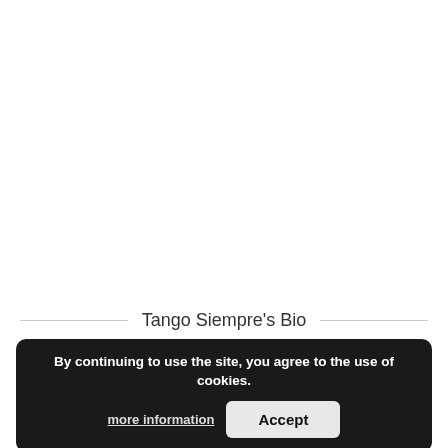Tango Siempre's Bio
By continuing to use the site, you agree to the use of cookies.
more information   Accept
Tango quartet featuring a bandoneon, piano, double bass and violin. Music from the